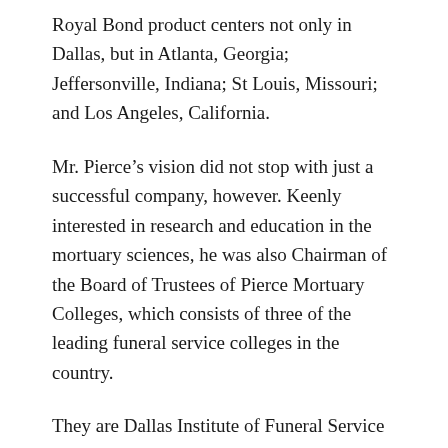Royal Bond product centers not only in Dallas, but in Atlanta, Georgia; Jeffersonville, Indiana; St Louis, Missouri; and Los Angeles, California.
Mr. Pierce's vision did not stop with just a successful company, however. Keenly interested in research and education in the mortuary sciences, he was also Chairman of the Board of Trustees of Pierce Mortuary Colleges, which consists of three of the leading funeral service colleges in the country.
They are Dallas Institute of Funeral Service in Dallas, Texas; the Gupton-Jones College of Funeral Service in Decatur (Atlanta), Georgia; and the Mid-America College of Funeral Service in Jeffersonville, Indiana. His efforts in assuring high standards of education within these colleges have been a significant factor in the